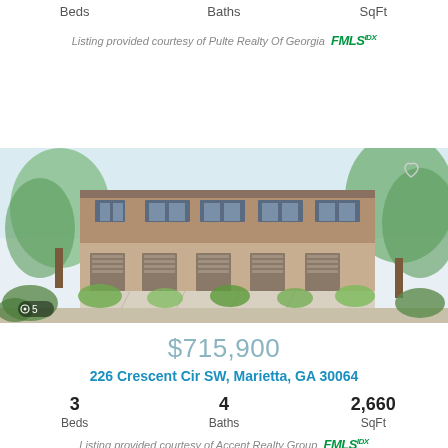Beds   Baths   SqFt
Listing provided courtesy of Pulte Realty Of Georgia FMLS IDX
[Figure (illustration): Architectural rendering of a multi-unit townhome building with brick facade, multiple garage entrances, flanked by trees and landscaping. Photo count badge showing 5 images.]
$715,900
226 Crescent Cir SW, Marietta, GA 30064
3  Beds   4  Baths   2,660  SqFt
Listing provided courtesy of Accent Realty Group FMLS IDX